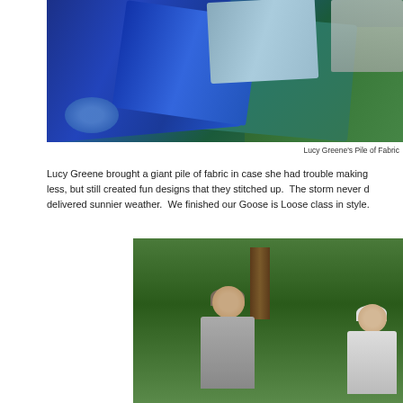[Figure (photo): Photo of Lucy Greene's pile of blue, teal, and green fabrics on a table with a sewing machine visible in the upper right.]
Lucy Greene's Pile of Fabric
Lucy Greene brought a giant pile of fabric in case she had trouble making less, but still created fun designs that they stitched up.  The storm never d delivered sunnier weather.  We finished our Goose is Loose class in style.
[Figure (photo): Photo of two women smiling outdoors in a forested area with pine trees in the background.]